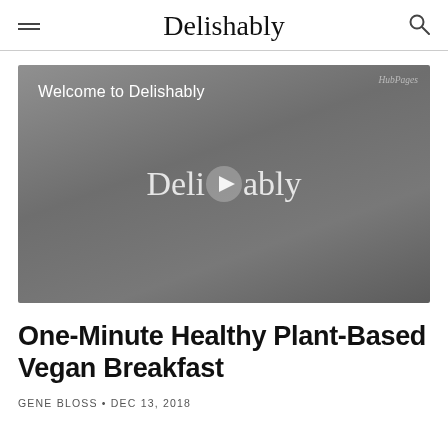Delishably
[Figure (screenshot): Video player showing 'Welcome to Delishably' with the Delishably logo and a play button in the center. HubPages watermark in top right corner.]
One-Minute Healthy Plant-Based Vegan Breakfast
GENE BLOSS • DEC 13, 2018